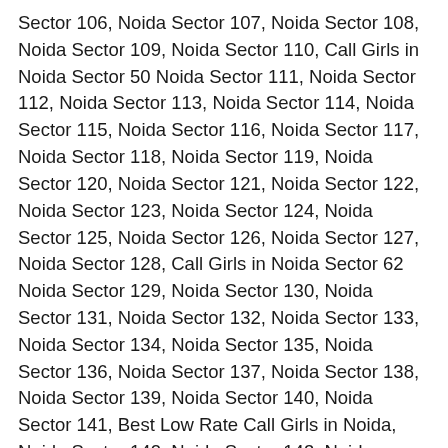Sector 106, Noida Sector 107, Noida Sector 108, Noida Sector 109, Noida Sector 110, Call Girls in Noida Sector 50 Noida Sector 111, Noida Sector 112, Noida Sector 113, Noida Sector 114, Noida Sector 115, Noida Sector 116, Noida Sector 117, Noida Sector 118, Noida Sector 119, Noida Sector 120, Noida Sector 121, Noida Sector 122, Noida Sector 123, Noida Sector 124, Noida Sector 125, Noida Sector 126, Noida Sector 127, Noida Sector 128, Call Girls in Noida Sector 62 Noida Sector 129, Noida Sector 130, Noida Sector 131, Noida Sector 132, Noida Sector 133, Noida Sector 134, Noida Sector 135, Noida Sector 136, Noida Sector 137, Noida Sector 138, Noida Sector 139, Noida Sector 140, Noida Sector 141, Best Low Rate Call Girls in Noida, Noida Sector 142, Noida Sector 143, Noida Sector 144, Noida Sector 145, Noida Sector 146, Noida Sector 147, Noida Sector 148, Noida Sector 149, Noida Sector 150 Hotels Detail in Noida:- Happy Easy Go [Call Now] on My Trip Trivago Goibigo Oyo Room Yatra.com https://callgirlescortsservice.com/ https://escortn...